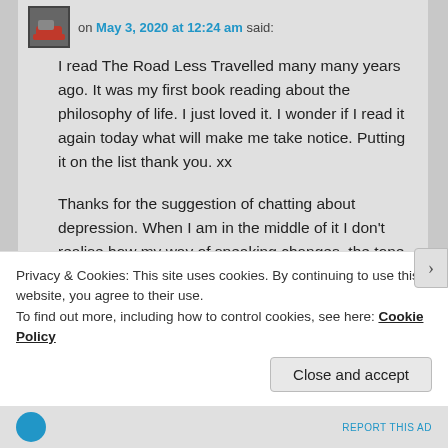on May 3, 2020 at 12:24 am said:
I read The Road Less Travelled many many years ago. It was my first book reading about the philosophy of life. I just loved it. I wonder if I read it again today what will make me take notice. Putting it on the list thank you. xx
Thanks for the suggestion of chatting about depression. When I am in the middle of it I don't realise how my way of speaking changes, the tone gets harsher, the replies get snappier. But you don't realise it, until it's pointed out. Sometimes you realise it
Privacy & Cookies: This site uses cookies. By continuing to use this website, you agree to their use.
To find out more, including how to control cookies, see here: Cookie Policy